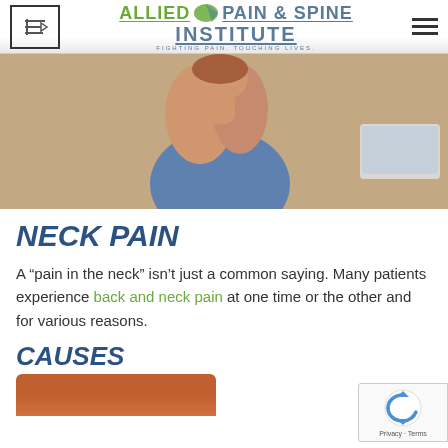[Figure (logo): Allied Pain & Spine Institute logo with leaf/arrow graphic, tagline: FIGHTING PAIN. TOUCHING LIVES.]
[Figure (photo): Woman in blue sleeveless top holding her neck in pain, seated near a laptop]
NECK PAIN
A “pain in the neck” isn’t just a common saying. Many patients experience back and neck pain at one time or the other and for various reasons.
CAUSES
[Figure (photo): Partial view of a person's neck/shoulder area, bottom of page]